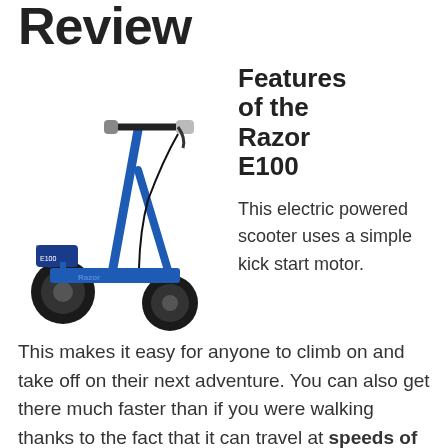Review
[Figure (photo): Blue Razor E100 electric scooter facing left, showing handlebars, deck, and rear wheel]
Features of the Razor E100
This electric powered scooter uses a simple kick start motor. This makes it easy for anyone to climb on and take off on their next adventure. You can also get there much faster than if you were walking thanks to the fact that it can travel at speeds of up to 10mph. To